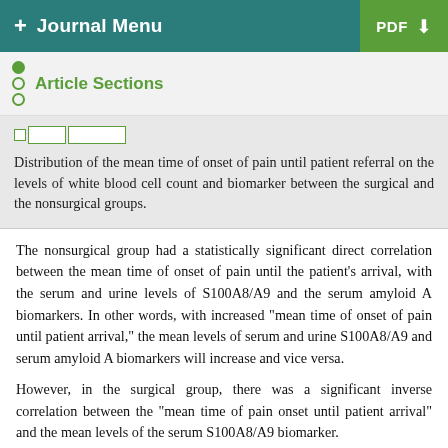+ Journal Menu | PDF
Article Sections
Distribution of the mean time of onset of pain until patient referral on the levels of white blood cell count and biomarker between the surgical and the nonsurgical groups.
The nonsurgical group had a statistically significant direct correlation between the mean time of onset of pain until the patient’s arrival, with the serum and urine levels of S100A8/A9 and the serum amyloid A biomarkers. In other words, with increased “mean time of onset of pain until patient arrival,” the mean levels of serum and urine S100A8/A9 and serum amyloid A biomarkers will increase and vice versa.
However, in the surgical group, there was a significant inverse correlation between the “mean time of pain onset until patient arrival” and the mean levels of the serum S100A8/A9 biomarker.